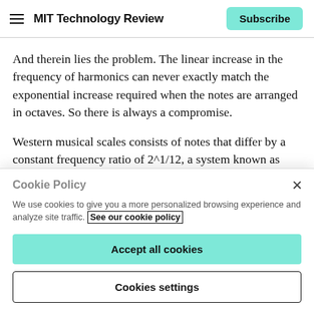MIT Technology Review | Subscribe
And therein lies the problem. The linear increase in the frequency of harmonics can never exactly match the exponential increase required when the notes are arranged in octaves. So there is always a compromise.
Western musical scales consists of notes that differ by a constant frequency ratio of 2^1/12, a system known as
Cookie Policy
We use cookies to give you a more personalized browsing experience and analyze site traffic. See our cookie policy
Accept all cookies
Cookies settings